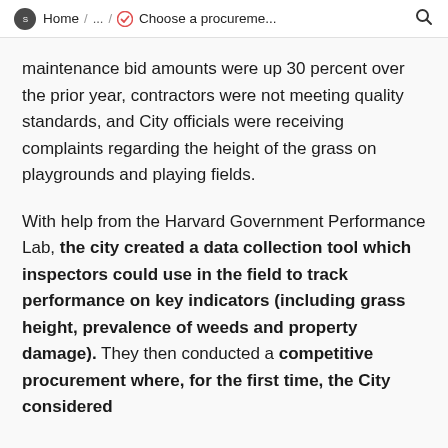Home / ... / Choose a procureme...
maintenance bid amounts were up 30 percent over the prior year, contractors were not meeting quality standards, and City officials were receiving complaints regarding the height of the grass on playgrounds and playing fields.
With help from the Harvard Government Performance Lab, the city created a data collection tool which inspectors could use in the field to track performance on key indicators (including grass height, prevalence of weeds and property damage). They then conducted a competitive procurement where, for the first time, the City considered